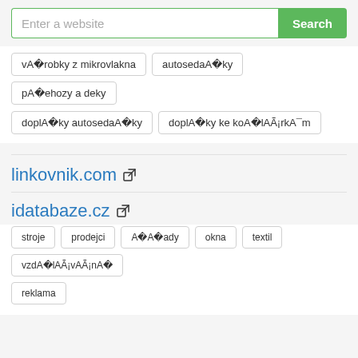[Figure (screenshot): Search bar with placeholder 'Enter a website' and green 'Search' button]
vA robky z mikrovlakna
autosedaA ky
pA ehozy a deky
doplA ky autosedaA ky
doplA ky ke koA lAÃ¡rkA¯ m
linkovnik.com
idatabaze.cz
stroje
prodejci
A A ady
okna
textil
vzdA lAÃ¡vAánA 
reklama